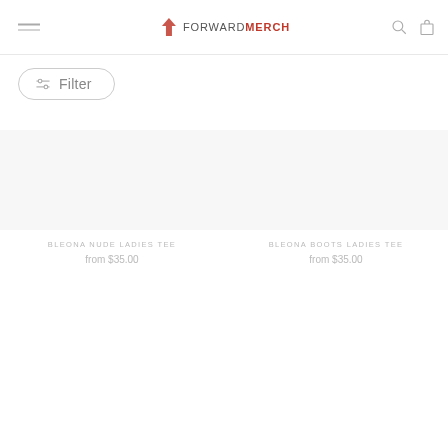ForwardMerch
Filter
BLEONA NUDE LADIES TEE
from $35.00
BLEONA BOOTS LADIES TEE
from $35.00